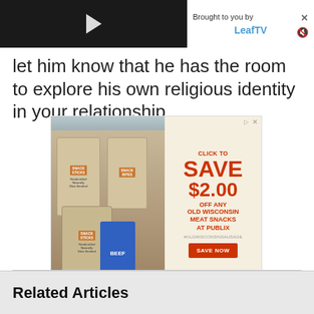[Figure (screenshot): Video player thumbnail with dark background and play button]
Brought to you by LeafTV
let him know that he has the room to explore his own religious identity in your relationship.
[Figure (photo): Advertisement for Old Wisconsin Meat Snacks featuring product photos and coupon offer: CLICK TO SAVE $2.00 OFF ANY OLD WISCONSIN MEAT SNACKS AT PUBLIX #OLDWISCONSINSAUSAGE SAVE NOW]
Related Articles